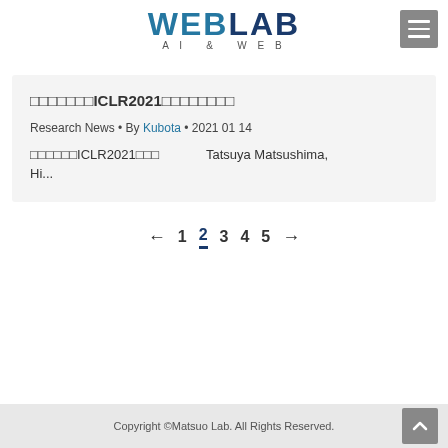WEBLAB AI & WEB
松尾研究室のICLR2021採択論文のご紹介
Research News • By Kubota • 2021 01 14
松尾研究室のICLR2021採択論文をご紹介　Tatsuya Matsushima, Hi...
← 1 2 3 4 5 →
Copyright ©Matsuo Lab. All Rights Reserved.